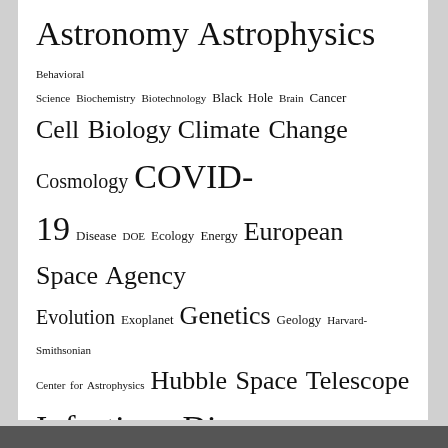[Figure (infographic): Tag cloud of science topics with varying font sizes indicating frequency/importance. Topics include Astronomy Astrophysics, Behavioral Science, Biochemistry, Biotechnology, Black Hole, Brain, Cancer, Cell Biology, Climate Change, Cosmology, COVID-19, Disease, DOE, Ecology, Energy, European Space Agency, Evolution, Exoplanet, Genetics, Geology, Harvard-Smithsonian Center for Astrophysics, Hubble Space Telescope, Infectious Diseases, JPL, Mars, Materials Science, Max Planck Institute, Medicine, MIT, Nanotechnology, NASA, NASA Goddard Space Flight Center, Neuroscience, Nutrition, Paleontology, Particle Physics, Planetary Science, Planets, Popular, Public Health, Quantum Physics, Vaccine, Virology, Yale University]